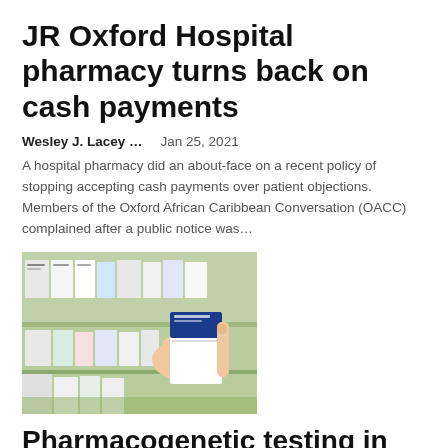JR Oxford Hospital pharmacy turns back on cash payments
Wesley J. Lacey …    Jan 25, 2021
A hospital pharmacy did an about-face on a recent policy of stopping accepting cash payments over patient objections. Members of the Oxford African Caribbean Conversation (OACC) complained after a public notice was…
[Figure (photo): A hand holding a medicine box in a pharmacy, with shelves of medication boxes in the background.]
Pharmacogenetic testing in community pharmacies could